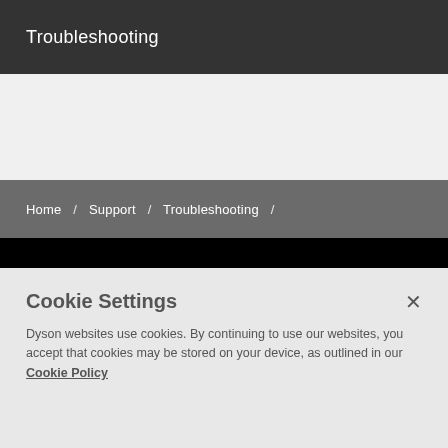Troubleshooting
Home / Support / Troubleshooting /
Ireland
Change language or region
Dyson Demo
Cookie Settings
Dyson websites use cookies. By continuing to use our websites, you accept that cookies may be stored on your device, as outlined in our Cookie Policy